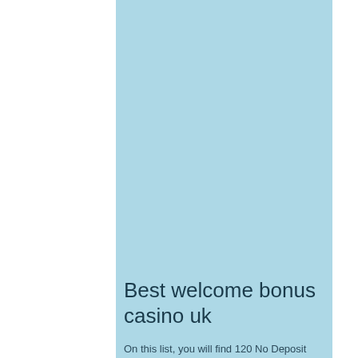[Figure (illustration): Large light blue rectangle occupying the right portion of the page, serving as a background image/placeholder area.]
Best welcome bonus casino uk
On this list, you will find 120 No Deposit